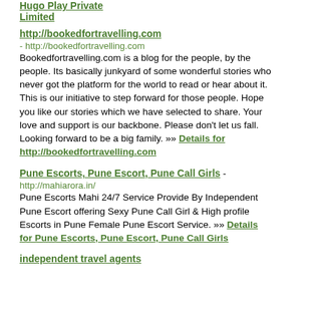Hugo Play Private Limited
http://bookedfortravelling.com
- http://bookedfortravelling.com
Bookedfortravelling.com is a blog for the people, by the people. Its basically junkyard of some wonderful stories who never got the platform for the world to read or hear about it. This is our initiative to step forward for those people. Hope you like our stories which we have selected to share. Your love and support is our backbone. Please don't let us fall. Looking forward to be a big family. »» Details for http://bookedfortravelling.com
Pune Escorts, Pune Escort, Pune Call Girls - http://mahiarora.in/
Pune Escorts Mahi 24/7 Service Provide By Independent Pune Escort offering Sexy Pune Call Girl & High profile Escorts in Pune Female Pune Escort Service. »» Details for Pune Escorts, Pune Escort, Pune Call Girls
independent travel agents